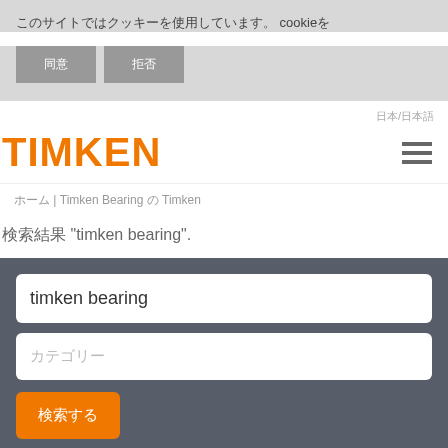このサイトではcookieを使用しています。
同意 | 拒否
日本/日本語
[Figure (logo): TIMKEN logo in orange]
ホーム | Timken Bearing の Timken
検索結果 "timken bearing".
timken bearing (input field)
カテゴリー (input placeholder)
検索する (button)